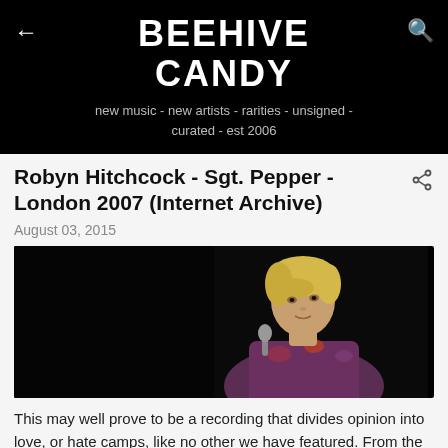BEEHIVE CANDY
new music - new artists - rarities - unsigned - curated - est 2006
Robyn Hitchcock - Sgt. Pepper - London 2007 (Internet Archive)
August 03, 2015
[Figure (photo): Photo of Robyn Hitchcock performing on stage, blond hair, dark background, wearing colorful shirt]
This may well prove to be a recording that divides opinion into love, or hate camps, like no other we have featured. From the Internet Archive this is Robyn Hitchcock back at the 1st July...